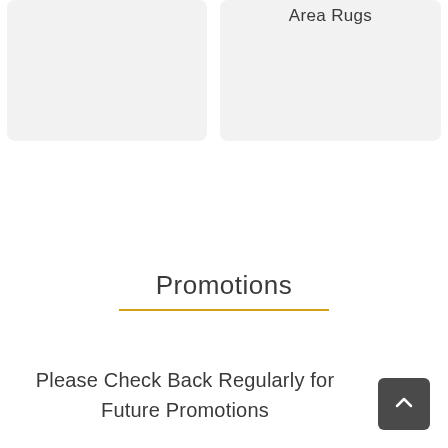[Figure (other): Left product card placeholder (gray rectangle)]
Area Rugs
[Figure (other): Right product card with 'Area Rugs' title (gray rectangle)]
Promotions
Please Check Back Regularly for Future Promotions